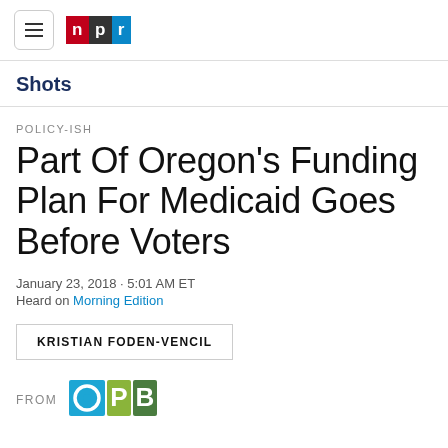NPR
Shots
POLICY-ISH
Part Of Oregon's Funding Plan For Medicaid Goes Before Voters
January 23, 2018 · 5:01 AM ET
Heard on Morning Edition
KRISTIAN FODEN-VENCIL
FROM OPB